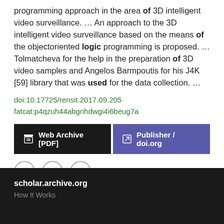programming approach in the area of 3D intelligent video surveillance.  …  An approach to the 3D intelligent video surveillance based on the means of the objectoriented logic programming is proposed.  …  Tolmatcheva for the help in the preparation of 3D video samples and Angelos Barmpoutis for his J4K [59] library that was used for the data collection.  …
doi:10.17725/rensit.2017.09.205
fatcat:p4qzuh44abgnhdwgi4i6beug7a
[Figure (screenshot): Two buttons: 'Web Archive [PDF]' (dark background) and 'Publisher / doi.org' (purple background), followed by three icon buttons (quote, edit, link)]
« Previous   Showing results 1 — 15 out of 29,082 results   Next »
scholar.archive.org
How It Works